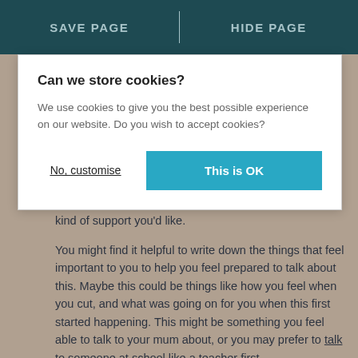SAVE PAGE   |   HIDE PAGE
Can we store cookies?
We use cookies to give you the best possible experience on our website. Do you wish to accept cookies?
No, customise
This is OK
opportunity to talk about this and let people know what kind of support you'd like.

You might find it helpful to write down the things that feel important to you to help you feel prepared to talk about this. Maybe this could be things like how you feel when you cut, and what was going on for you when this first started happening. This might be something you feel able to talk to your mum about, or you may prefer to talk to someone at school like a teacher first.